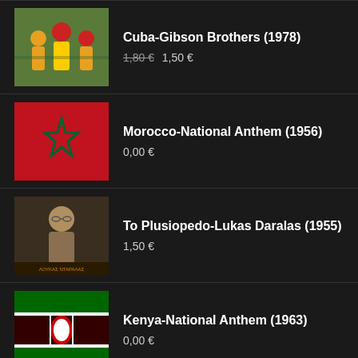Cuba-Gibson Brothers (1978) | 1,80 € 1,50 €
Morocco-National Anthem (1956) | 0,00 €
To Plusiopedo-Lukas Daralas (1955) | 1,50 €
Kenya-National Anthem (1963) | 0,00 €
New Kid in Town-Eagles (1973) | 1,50 €
O Stavros tu notu-Thanos Mikrutsikos (1979)